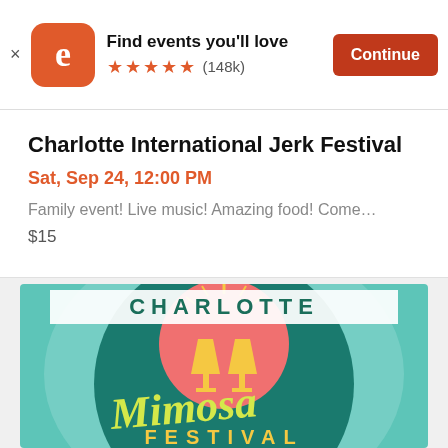Find events you'll love ★★★★★ (148k)  Continue
Charlotte International Jerk Festival
Sat, Sep 24, 12:00 PM
Family event! Live music! Amazing food! Come…
$15
[Figure (illustration): Charlotte Mimosa Festival promotional poster with teal background, large pink/coral sun, champagne glasses, and stylized script text reading 'Charlotte Mimosa Festival']